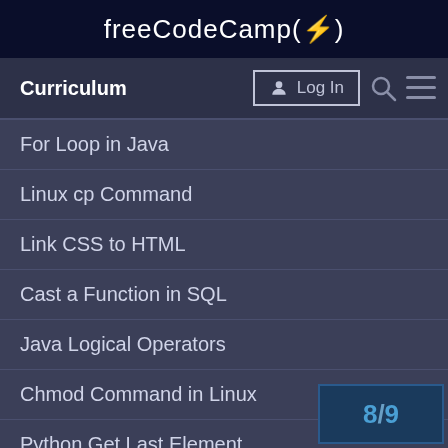freeCodeCamp(🔥)
Curriculum
For Loop in Java
Linux cp Command
Link CSS to HTML
Cast a Function in SQL
Java Logical Operators
Chmod Command in Linux
Python Get Last Element
Python Add to Dictionary
Declare an Array in Java
Get Current Time in Python
8/9